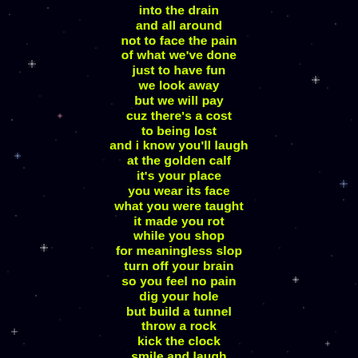[Figure (illustration): Black starfield background with scattered white, blue, and pink star sparkles.]
into the drain
and all around
not to face the pain
of what we've done
just to have fun
we look away
but we will pay
cuz there's a cost
to being lost
and i know you'll laugh
at the golden calf
it's your place
you wear its face
what you were taught
it made you rot
while you shop
for meaningless slop
turn off your brain
so you feel no pain
dig your hole
but build a tunnel
throw a rock
kick the clock
smile and laugh
just to get along